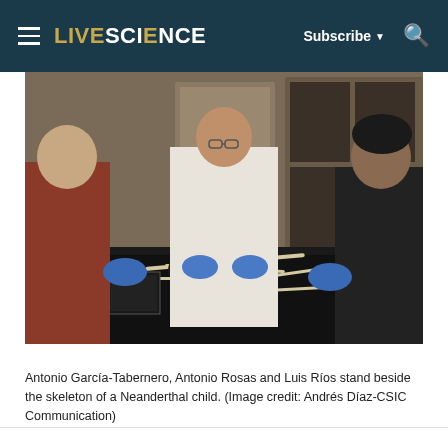LIVESCIENCE — Subscribe ▼ 🔍
[Figure (photo): Three researchers — Antonio García-Tabernero, Antonio Rosas, and Luis Ríos — wearing blue gloves and standing/sitting beside a black table on which the skeleton of a Neanderthal child is laid out. A human skeleton model is visible in the background along with lab shelving and posters.]
Antonio García-Tabernero, Antonio Rosas and Luis Ríos stand beside the skeleton of a Neanderthal child. (Image credit: Andrés Díaz-CSIC Communication)